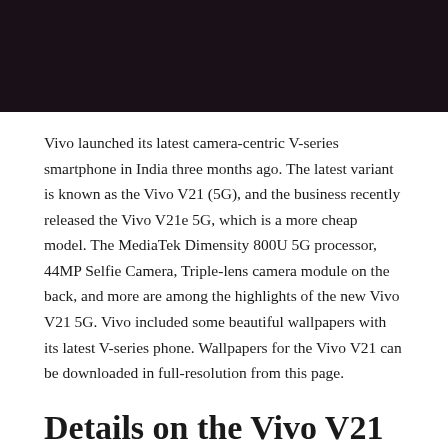[Figure (photo): Dark/black photograph of a Vivo V21 5G smartphone, partially visible at top of page]
Vivo launched its latest camera-centric V-series smartphone in India three months ago. The latest variant is known as the Vivo V21 (5G), and the business recently released the Vivo V21e 5G, which is a more cheap model. The MediaTek Dimensity 800U 5G processor, 44MP Selfie Camera, Triple-lens camera module on the back, and more are among the highlights of the new Vivo V21 5G. Vivo included some beautiful wallpapers with its latest V-series phone. Wallpapers for the Vivo V21 can be downloaded in full-resolution from this page.
Details on the Vivo V21 5G
The Vivo V21 5G is currently available for purchase in India, and it is priced in the mid-range. Before we get into the